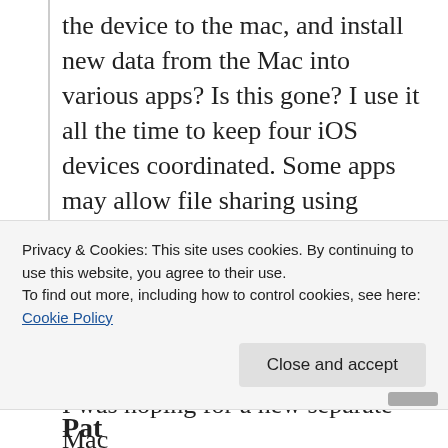the device to the mac, and install new data from the Mac into various apps? Is this gone? I use it all the time to keep four iOS devices coordinated. Some apps may allow file sharing using Dropbox or Google Drive, but I don't like to share my data with the cloud!
iTunes needed to be simplified, but I was hoping for a new separate Mac...
Privacy & Cookies: This site uses cookies. By continuing to use this website, you agree to their use.
To find out more, including how to control cookies, see here: Cookie Policy
Close and accept
Pat